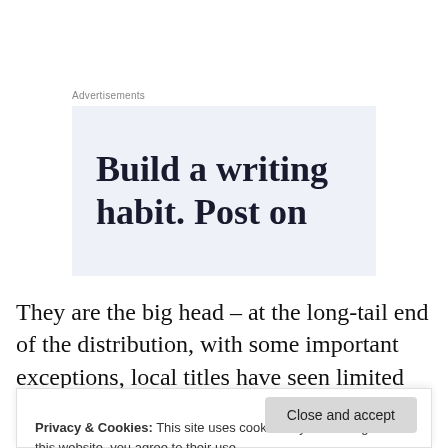Advertisements
[Figure (other): Advertisement banner with text 'Build a writing habit. Post on' on a light blue-grey background]
They are the big head – at the long-tail end of the distribution, with some important exceptions, local titles have seen limited growth in digital subscriptions
Privacy & Cookies: This site uses cookies. By continuing to use this website, you agree to their use.
To find out more, including how to control cookies, see here: Cookie Policy
to decline for some time, driven primarily by audience and